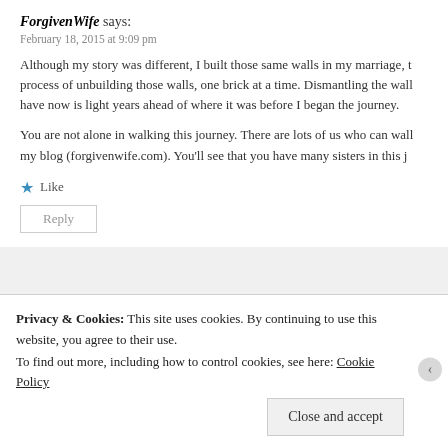ForgivenWife says:
February 18, 2015 at 9:09 pm
Although my story was different, I built those same walls in my marriage, the process of unbuilding those walls, one brick at a time. Dismantling the wall have now is light years ahead of where it was before I began the journey.
You are not alone in walking this journey. There are lots of us who can wall my blog (forgivenwife.com). You'll see that you have many sisters in this j
★ Like
Reply
Faith Like Dirty Diapers says:
Privacy & Cookies: This site uses cookies. By continuing to use this website, you agree to their use.
To find out more, including how to control cookies, see here: Cookie Policy
Close and accept